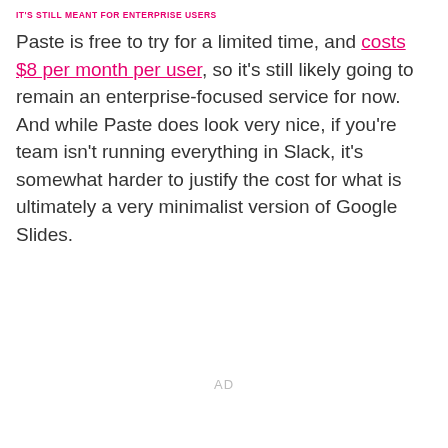IT'S STILL MEANT FOR ENTERPRISE USERS
Paste is free to try for a limited time, and costs $8 per month per user, so it's still likely going to remain an enterprise-focused service for now. And while Paste does look very nice, if you're team isn't running everything in Slack, it's somewhat harder to justify the cost for what is ultimately a very minimalist version of Google Slides.
AD